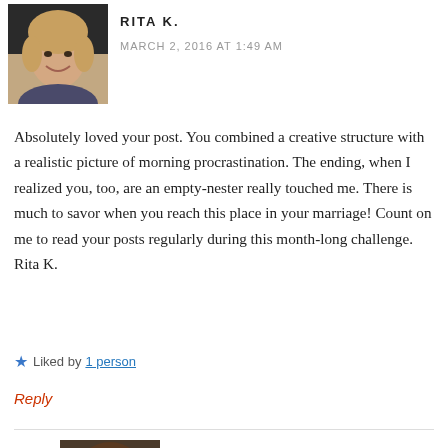[Figure (photo): Avatar photo of Rita K., a smiling woman with blonde hair]
RITA K.
MARCH 2, 2016 AT 1:49 AM
Absolutely loved your post. You combined a creative structure with a realistic picture of morning procrastination. The ending, when I realized you, too, are an empty-nester really touched me. There is much to savor when you reach this place in your marriage! Count on me to read your posts regularly during this month-long challenge. Rita K.
Liked by 1 person
Reply
[Figure (photo): Avatar photo of Shari Daniels, a woman with glasses and brown hair]
SHARI DANIELS
MARCH 2, 2016 AT 1:56 AM